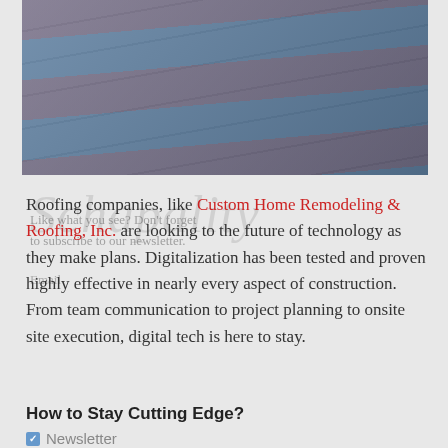[Figure (photo): Aerial or close-up view of a roof with blue/grey and red roofing tiles or shingles, with a watermark overlay reading 'Schapality' in cursive script]
Roofing companies, like Custom Home Remodeling & Roofing, Inc. are looking to the future of technology as they make plans. Digitalization has been tested and proven highly effective in nearly every aspect of construction. From team communication to project planning to onsite site execution, digital tech is here to stay.
How to Stay Cutting Edge?
Newsletter